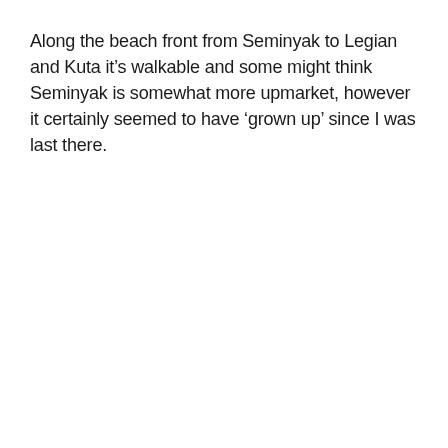Along the beach front from Seminyak to Legian and Kuta it's walkable and some might think Seminyak is somewhat more upmarket, however it certainly seemed to have 'grown up' since I was last there.